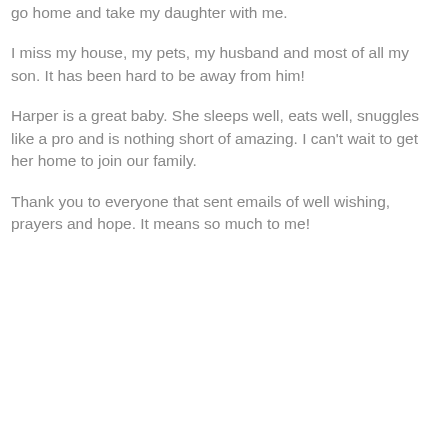go home and take my daughter with me.
I miss my house, my pets, my husband and most of all my son. It has been hard to be away from him!
Harper is a great baby. She sleeps well, eats well, snuggles like a pro and is nothing short of amazing. I can't wait to get her home to join our family.
Thank you to everyone that sent emails of well wishing, prayers and hope. It means so much to me!